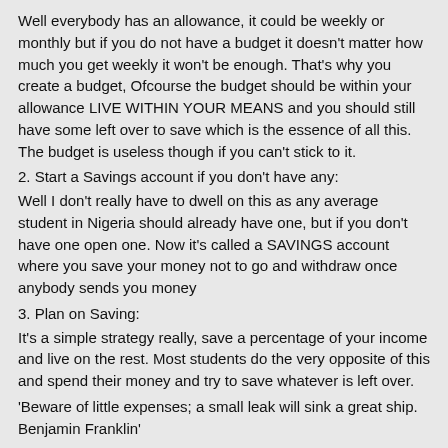Well everybody has an allowance, it could be weekly or monthly but if you do not have a budget it doesn't matter how much you get weekly it won't be enough. That's why you create a budget, Ofcourse the budget should be within your allowance LIVE WITHIN YOUR MEANS and you should still have some left over to save which is the essence of all this. The budget is useless though if you can't stick to it.
2. Start a Savings account if you don't have any:
Well I don't really have to dwell on this as any average student in Nigeria should already have one, but if you don't have one open one. Now it's called a SAVINGS account where you save your money not to go and withdraw once anybody sends you money
3. Plan on Saving:
It's a simple strategy really, save a percentage of your income and live on the rest. Most students do the very opposite of this and spend their money and try to save whatever is left over.
'Beware of little expenses; a small leak will sink a great ship. Benjamin Franklin'
You also have to be very conscious of little expenses not just the major ones, from the soft drinks to the cafeteria meals etc. You just have to